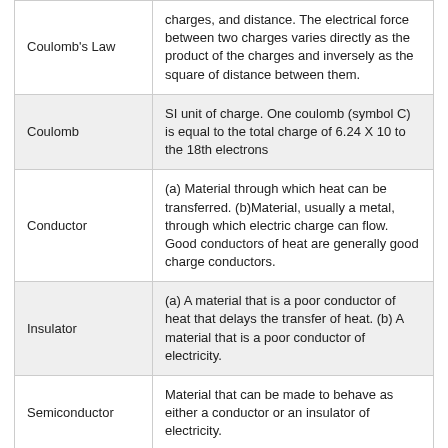| Term | Definition |
| --- | --- |
| Coulomb's Law | charges, and distance. The electrical force between two charges varies directly as the product of the charges and inversely as the square of distance between them. |
| Coulomb | SI unit of charge. One coulomb (symbol C) is equal to the total charge of 6.24 X 10 to the 18th electrons |
| Conductor | (a) Material through which heat can be transferred. (b)Material, usually a metal, through which electric charge can flow. Good conductors of heat are generally good charge conductors. |
| Insulator | (a) A material that is a poor conductor of heat that delays the transfer of heat. (b) A material that is a poor conductor of electricity. |
| Semiconductor | Material that can be made to behave as either a conductor or an insulator of electricity. |
| Induced | Term applied to a voltage, electric field, or magnetic field that is created due to a change in or motion through a magnetic field or electric field. |
| Induction | The charging of an object wothout direct contact. |